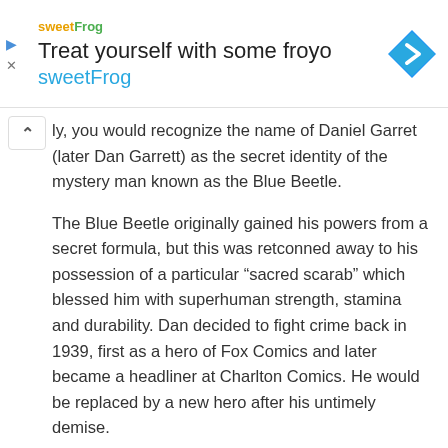[Figure (screenshot): Advertisement banner for sweetFrog frozen yogurt. Shows sweetFrog logo, headline 'Treat yourself with some froyo', brand name 'sweetFrog' in blue, and a blue diamond navigation icon on the right. Play and close icons on the left edge.]
ly, you would recognize the name of Daniel Garret (later Dan Garrett) as the secret identity of the mystery man known as the Blue Beetle.
The Blue Beetle originally gained his powers from a secret formula, but this was retconned away to his possession of a particular “sacred scarab” which blessed him with superhuman strength, stamina and durability. Dan decided to fight crime back in 1939, first as a hero of Fox Comics and later became a headliner at Charlton Comics. He would be replaced by a new hero after his untimely demise.